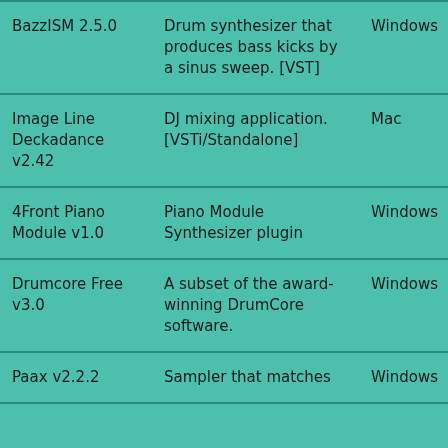| Name | Description | Platform | License |
| --- | --- | --- | --- |
| BazzISM 2.5.0 | Drum synthesizer that produces bass kicks by a sinus sweep. [VST] | Windows | Dem... |
| Image Line Deckadance v2.42 | DJ mixing application. [VSTi/Standalone] | Mac | Dem... |
| 4Front Piano Module v1.0 | Piano Module Synthesizer plugin | Windows | Free... |
| Drumcore Free v3.0 | A subset of the award-winning DrumCore software. | Windows | Free... |
| Paax v2.2.2 | Sampler that matches | Windows | Free... |